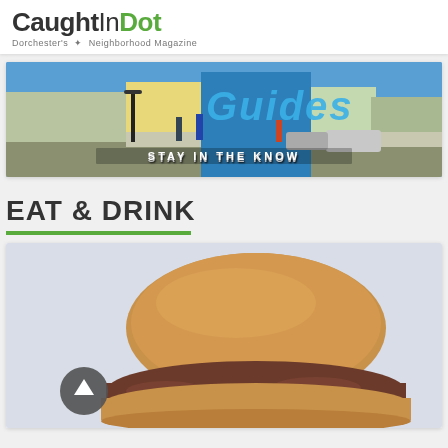CaughtInDot — Dorchester's Neighborhood Magazine
[Figure (photo): Street scene banner with 'Guides' text overlay and 'STAY IN THE KNOW' subtitle, showing pedestrians on a city street with buildings in the background]
EAT & DRINK
[Figure (photo): Close-up photo of a pulled pork or BBQ sandwich on a bun against a light blue/grey background, with a circular scroll-up button overlaid on the left side]